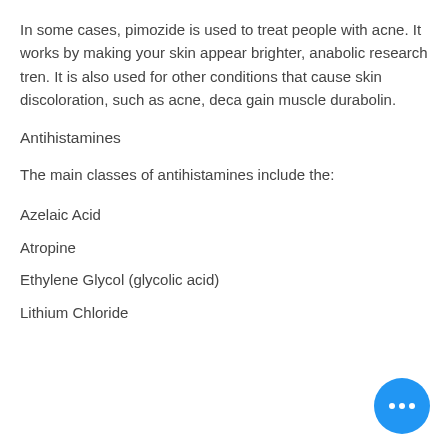In some cases, pimozide is used to treat people with acne. It works by making your skin appear brighter, anabolic research tren. It is also used for other conditions that cause skin discoloration, such as acne, deca gain muscle durabolin.
Antihistamines
The main classes of antihistamines include the:
Azelaic Acid
Atropine
Ethylene Glycol (glycolic acid)
Lithium Chloride